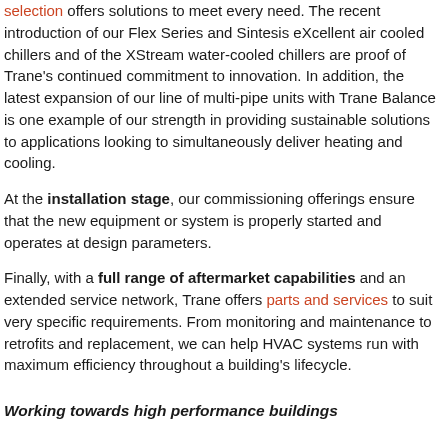selection offers solutions to meet every need. The recent introduction of our Flex Series and Sintesis eXcellent air cooled chillers and of the XStream water-cooled chillers are proof of Trane's continued commitment to innovation. In addition, the latest expansion of our line of multi-pipe units with Trane Balance is one example of our strength in providing sustainable solutions to applications looking to simultaneously deliver heating and cooling.
At the installation stage, our commissioning offerings ensure that the new equipment or system is properly started and operates at design parameters.
Finally, with a full range of aftermarket capabilities and an extended service network, Trane offers parts and services to suit very specific requirements. From monitoring and maintenance to retrofits and replacement, we can help HVAC systems run with maximum efficiency throughout a building's lifecycle.
Working towards high performance buildings